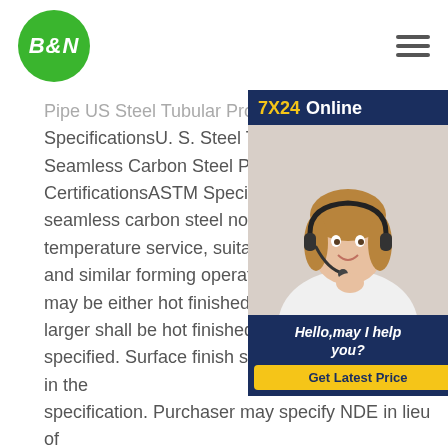[Figure (logo): B&N green circle logo with white bold italic text]
Pipe US Steel Tubular Products: Specifications U. S. Steel Tubular Products Seamless Carbon Steel Pipe U. S. Steel Certifications ASTM Specification A106 seamless carbon steel nominal wall pipe, temperature service, suitable for bending and similar forming operations. NPS 1- may be either hot finished or cold drawn, larger shall be hot finished unless otherwise specified. Surface finish standards are outlined in the specification. Purchaser may specify NDE in lieu of hydrostatic test or neither. Unless otherwise specified, pipe is furnished with plain ends. See more
[Figure (photo): Customer service representative woman wearing headset, smiling, with 7X24 Online chat widget overlay showing 'Hello, may I help you?' and 'Get Latest Price' button]